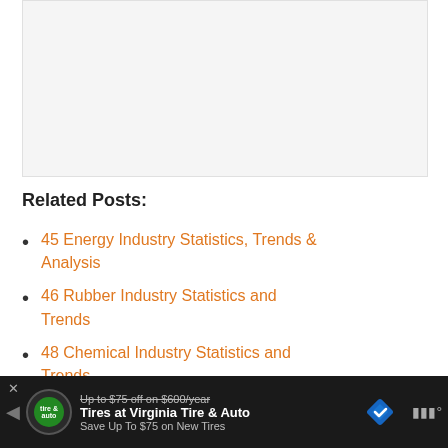[Figure (other): Blank/placeholder image area at the top of the page]
Related Posts:
45 Energy Industry Statistics, Trends & Analysis
46 Rubber Industry Statistics and Trends
48 Chemical Industry Statistics and Trends
[Figure (other): Advertisement banner at bottom: Virginia Tire & Auto ad with logo, 'Up to $75 off on $600/year', 'Tires at Virginia Tire & Auto', 'Save Up To $75 on New Tires']